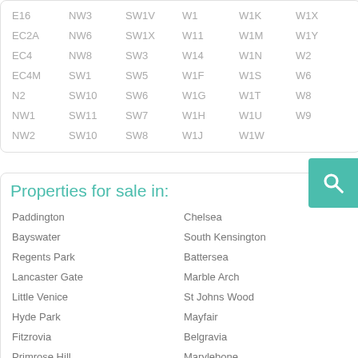| E16 | NW3 | SW1V | W1 | W1K | W1X |
| EC2A | NW6 | SW1X | W11 | W1M | W1Y |
| EC4 | NW8 | SW3 | W14 | W1N | W2 |
| EC4M | SW1 | SW5 | W1F | W1S | W6 |
| N2 | SW10 | SW6 | W1G | W1T | W8 |
| NW1 | SW11 | SW7 | W1H | W1U | W9 |
| NW2 | SW10 | SW8 | W1J | W1W |  |
Properties for sale in:
Paddington
Chelsea
Bayswater
South Kensington
Regents Park
Battersea
Lancaster Gate
Marble Arch
Little Venice
St Johns Wood
Hyde Park
Mayfair
Fitzrovia
Belgravia
Primrose Hill
Marylebone
Kilburn
Pimlico
Paddington Basin
Hampstead
Lambeth
Maida Vale